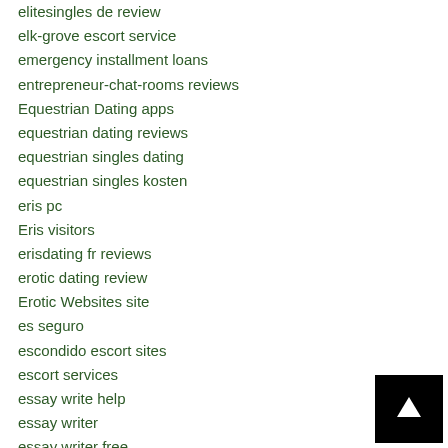elitesingles de review
elk-grove escort service
emergency installment loans
entrepreneur-chat-rooms reviews
Equestrian Dating apps
equestrian dating reviews
equestrian singles dating
equestrian singles kosten
eris pc
Eris visitors
erisdating fr reviews
erotic dating review
Erotic Websites site
es seguro
escondido escort sites
escort services
essay write help
essay writer
essay writer free
essay writer service